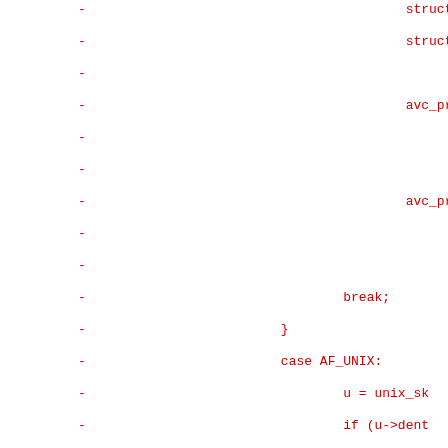[Figure (other): Code diff snippet showing removed lines (marked with '-') of C source code, including struct inet, struct ipv6, avc_print_i calls, break, AF_UNIX case handling with unix_sk, u->dent, str, }; aud, bre, if (!u->add, bre, len = u->ad, p = &u->add, audit_log_f, if (*p), aud, else]